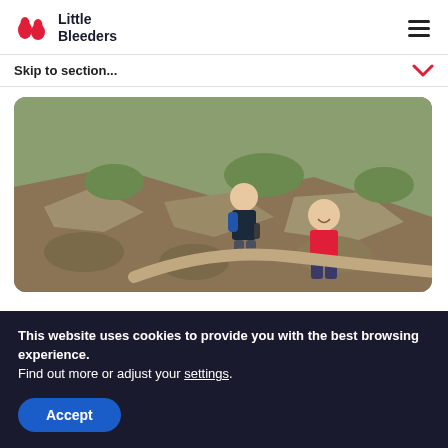Little Bleeders
Skip to section...
[Figure (photo): A man with a backpack and a boy in a red t-shirt hiking on a rocky mountain trail with grassy hillside in the background]
This website uses cookies to provide you with the best browsing experience.
Find out more or adjust your settings.
Accept